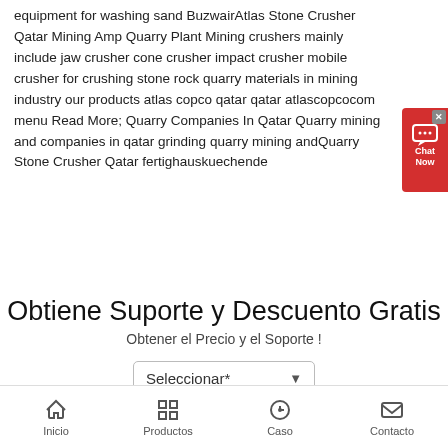equipment for washing sand BuzwairAtlas Stone Crusher Qatar Mining Amp Quarry Plant Mining crushers mainly include jaw crusher cone crusher impact crusher mobile crusher for crushing stone rock quarry materials in mining industry our products atlas copco qatar qatar atlascopcocom menu Read More; Quarry Companies In Qatar Quarry mining and companies in qatar grinding quarry mining andQuarry Stone Crusher Qatar fertighauskuechende
[Figure (other): Red chat widget button with speech bubble icon and text 'Chat Now']
Obtiene Suporte y Descuento Gratis
Obtener el Precio y el Soporte !
Seleccionar*
Inicio  Productos  Caso  Contacto